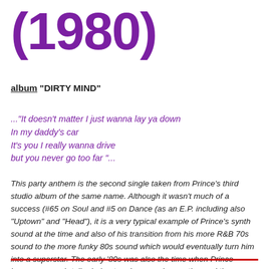(1980)
album "DIRTY MIND"
..."It doesn't matter I just wanna lay ya down
In my daddy's car
It's you I really wanna drive
but you never go too far "...
This party anthem is the second single taken from Prince's third studio album of the same name. Although it wasn't much of a success (#65 on Soul and #5 on Dance (as an E.P. including also "Uptown" and "Head"), it is a very typical example of Prince's synth sound at the time and also of his transition from his more R&B 70s sound to the more funky 80s sound which would eventually turn him into a superstar. The early '80s was also the time when Prince became a much-talked-about underground sensation and the performances of this single can easily explain why.